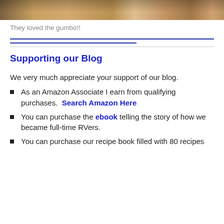[Figure (photo): Top portion of a photo showing people at a restaurant/dining setting with drinks on the table, partially cropped.]
They loved the gumbo!!
Supporting our Blog
We very much appreciate your support of our blog.
As an Amazon Associate I earn from qualifying purchases.  Search Amazon Here
You can purchase the ebook telling the story of how we became full-time RVers.
You can purchase our recipe book filled with 80 recipes